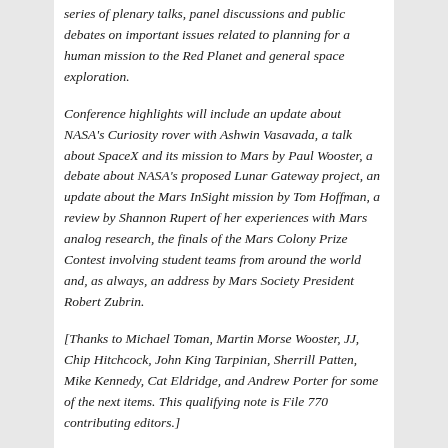series of plenary talks, panel discussions and public debates on important issues related to planning for a human mission to the Red Planet and general space exploration.
Conference highlights will include an update about NASA's Curiosity rover with Ashwin Vasavada, a talk about SpaceX and its mission to Mars by Paul Wooster, a debate about NASA's proposed Lunar Gateway project, an update about the Mars InSight mission by Tom Hoffman, a review by Shannon Rupert of her experiences with Mars analog research, the finals of the Mars Colony Prize Contest involving student teams from around the world and, as always, an address by Mars Society President Robert Zubrin.
[Thanks to Michael Toman, Martin Morse Wooster, JJ, Chip Hitchcock, John King Tarpinian, Sherrill Patten, Mike Kennedy, Cat Eldridge, and Andrew Porter for some of the next items. This qualifying note is File 770 contributing editors.]